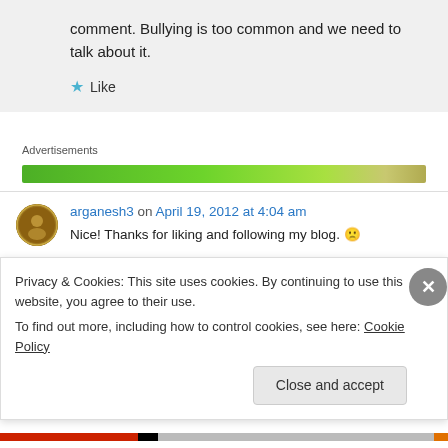comment. Bullying is too common and we need to talk about it.
Like
Advertisements
[Figure (other): Green advertisement banner bar]
arganesh3 on April 19, 2012 at 4:04 am
Nice! Thanks for liking and following my blog.
Privacy & Cookies: This site uses cookies. By continuing to use this website, you agree to their use.
To find out more, including how to control cookies, see here: Cookie Policy
Close and accept